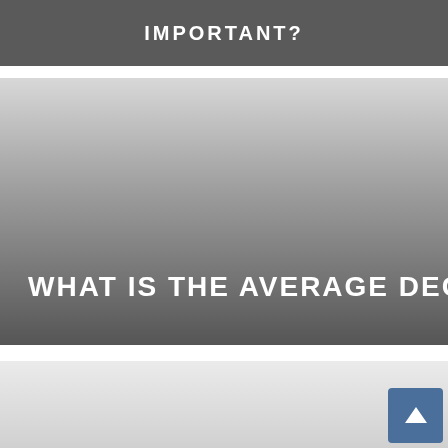IMPORTANT?
[Figure (illustration): Dark gradient banner image with white bold text reading 'WHAT IS THE AVERAGE DECK SIZE?' on a dark gray gradient background that fades from light gray at top to dark gray at bottom.]
[Figure (illustration): Light gray gradient image at the bottom of the page, partially visible, with a blue scroll-to-top button in the bottom right corner containing an upward arrow.]